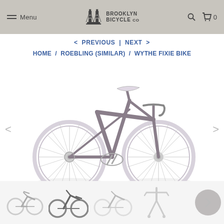Menu | BROOKLYN BICYCLE Co | Search | Cart 0
< PREVIOUS | NEXT >
HOME / ROEBLING (SIMILAR) / WYTHE FIXIE BIKE
[Figure (photo): A fixie/single-speed bicycle with a matte gray/silver frame, white rims and tires, white saddle, and drop handlebars, displayed on a white background. Navigation arrows on either side.]
[Figure (photo): Thumbnail 1: Small image of the same fixie bike, side view, lighter tone]
[Figure (photo): Thumbnail 2: Small image of the fixie bike, side view, darker outline style]
[Figure (photo): Thumbnail 3: Small image of the fixie bike, side view, lighter style]
[Figure (photo): Thumbnail 4: Small image of bike components/fork stand, front view]
[Figure (photo): Next arrow button thumbnail navigation]